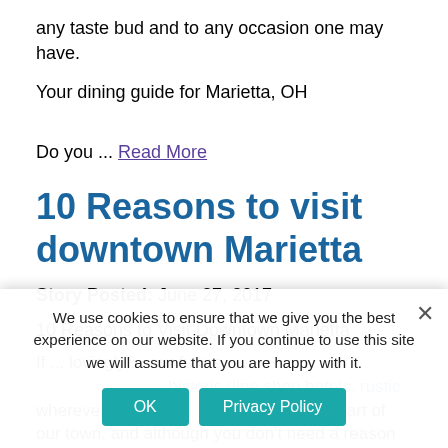any taste bud and to any occasion one may have.
Your dining guide for Marietta, OH
Do you ... Read More
10 Reasons to visit downtown Marietta
Story Posted: June 27, 2017
10 Reasons to Visit Downtown Marietta
If ... lovingly ... our future ... be fe... wherever ... heart of our town, and although you don't need a reason to visit
We use cookies to ensure that we give you the best experience on our website. If you continue to use this site we will assume that you are happy with it.